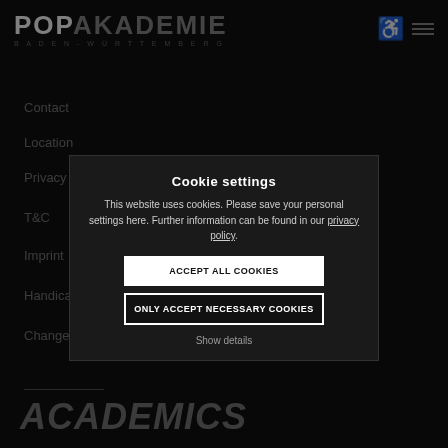POPAKADEMIE BADEN-WÜRTTEMBERG
Contact
Location
Privacy
T&C
Imprint
Handicapped People
Change cookie settings
Cookie settings
This website uses cookies. Please save your personal settings here. Further information can be found in our privacy policy.
ACCEPT ALL COOKIES
ONLY ACCEPT NECESSARY COOKIES
Show details
ACADEMICS